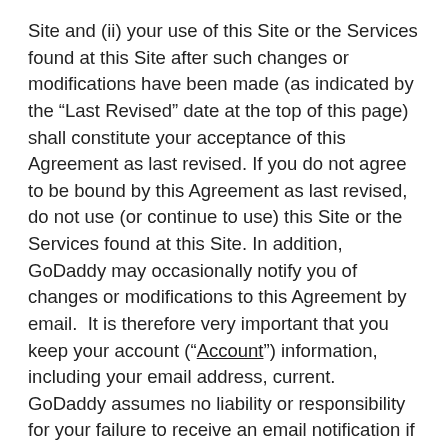Site and (ii) your use of this Site or the Services found at this Site after such changes or modifications have been made (as indicated by the “Last Revised” date at the top of this page) shall constitute your acceptance of this Agreement as last revised. If you do not agree to be bound by this Agreement as last revised, do not use (or continue to use) this Site or the Services found at this Site. In addition, GoDaddy may occasionally notify you of changes or modifications to this Agreement by email.  It is therefore very important that you keep your account (“Account”) information, including your email address, current.  GoDaddy assumes no liability or responsibility for your failure to receive an email notification if such failure results from an inaccurate or out-of-date email address.
2. Registrations and fees generally
You understand that each and every bid is a binding